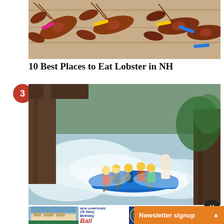[Figure (photo): Photo of multiple lobsters laid on a wooden surface, claws bound with colored rubber bands (red, yellow, blue)]
10 Best Places to Eat Lobster in NH
[Figure (photo): White water rafting photo showing a group of people in yellow helmets on a blue inflatable raft navigating through rough rapids between wooden structural pillars]
[Figure (photo): Advertisement banner: US Navy Birthday Ball, October 13, 5:30-9:00 p.m., Wentworth by, Tickets + Info]
Newsletter signup